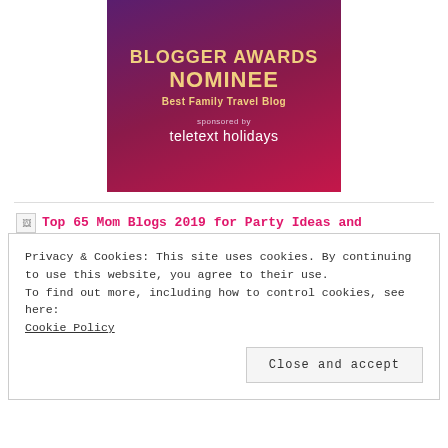[Figure (illustration): Blogger Awards Nominee badge for Best Family Travel Blog, sponsored by teletext holidays. Purple-to-pink gradient background with gold text.]
Top 65 Mom Blogs 2019 for Party Ideas and
Privacy & Cookies: This site uses cookies. By continuing to use this website, you agree to their use.
To find out more, including how to control cookies, see here:
Cookie Policy
Close and accept